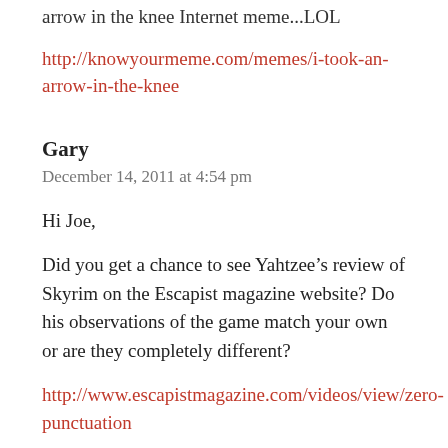arrow in the knee Internet meme...LOL
http://knowyourmeme.com/memes/i-took-an-arrow-in-the-knee
Gary
December 14, 2011 at 4:54 pm
Hi Joe,
Did you get a chance to see Yahtzee’s review of Skyrim on the Escapist magazine website? Do his observations of the game match your own or are they completely different?
http://www.escapistmagazine.com/videos/view/zero-punctuation